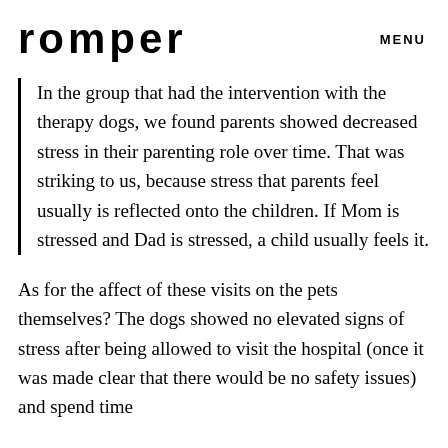romper   MENU
In the group that had the intervention with the therapy dogs, we found parents showed decreased stress in their parenting role over time. That was striking to us, because stress that parents feel usually is reflected onto the children. If Mom is stressed and Dad is stressed, a child usually feels it.
As for the affect of these visits on the pets themselves? The dogs showed no elevated signs of stress after being allowed to visit the hospital (once it was made clear that there would be no safety issues) and spend time